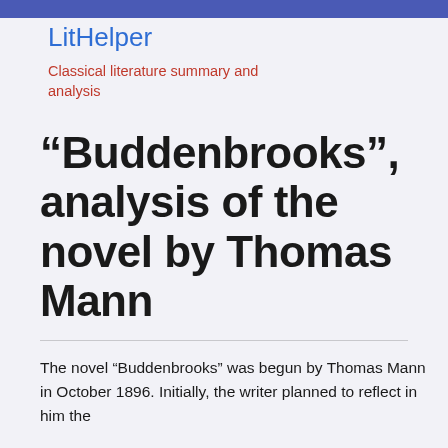LitHelper
Classical literature summary and analysis
“Buddenbrooks”, analysis of the novel by Thomas Mann
The novel “Buddenbrooks” was begun by Thomas Mann in October 1896. Initially, the writer planned to reflect in him the